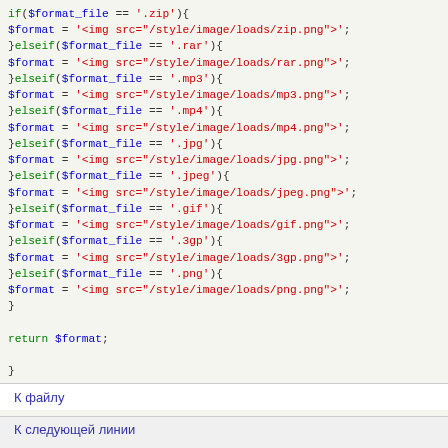if($format_file == '.zip'){
$format = '<img src="/style/image/loads/zip.png">';
}elseif($format_file == '.rar'){
$format = '<img src="/style/image/loads/rar.png">';
}elseif($format_file == '.mp3'){
$format = '<img src="/style/image/loads/mp3.png">';
}elseif($format_file == '.mp4'){
$format = '<img src="/style/image/loads/mp4.png">';
}elseif($format_file == '.jpg'){
$format = '<img src="/style/image/loads/jpg.png">';
}elseif($format_file == '.jpeg'){
$format = '<img src="/style/image/loads/jpeg.png">';
}elseif($format_file == '.gif'){
$format = '<img src="/style/image/loads/gif.png">';
}elseif($format_file == '.3gp'){
$format = '<img src="/style/image/loads/3gp.png">';
}elseif($format_file == '.png'){
$format = '<img src="/style/image/loads/png.png">';
}

return $format;

}


?>
К файлу
К следующей линии